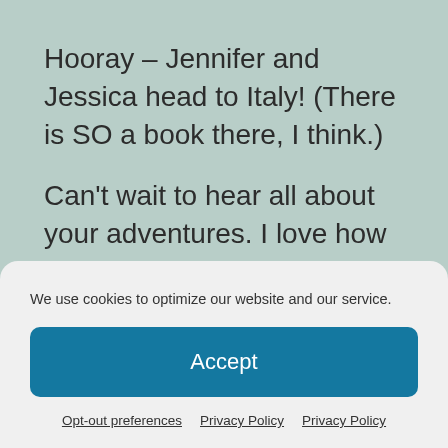Hooray – Jennifer and Jessica head to Italy! (There is SO a book there, I think.)
Can't wait to hear all about your adventures. I love how you share your travel stories; I feel like I'm right there with you both.
Comments are closed.
We use cookies to optimize our website and our service.
Accept
Opt-out preferences   Privacy Policy   Privacy Policy